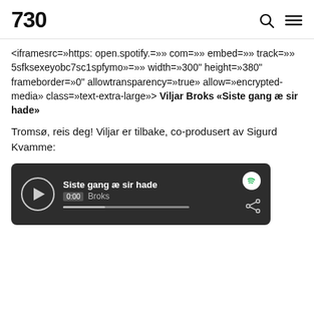730
<iframesrc=»https: open.spotify.=»» com=»» embed=»» track=»» 5sfksexeyobc7sc1spfymo»=»» width=»300" height=»380" frameborder=»0" allowtransparency=»true» allow=»encrypted-media» class=»text-extra-large»> Viljar Broks «Siste gang æ sir hade»
Tromsø, reis deg! Viljar er tilbake, co-produsert av Sigurd Kvamme:
[Figure (screenshot): Spotify embedded player showing track 'Siste gang æ sir hade' by Viljar Broks, with play button, 0:00 timestamp, progress bar, Spotify logo, and share icon, on dark grey background.]